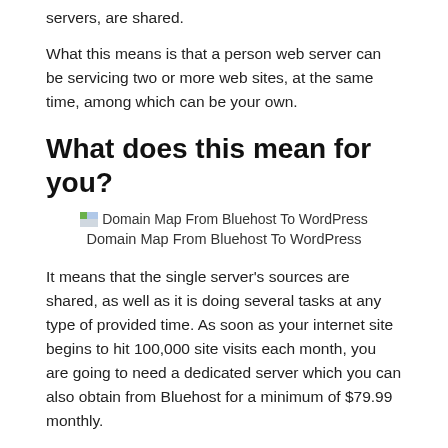servers, are shared.
What this means is that a person web server can be servicing two or more web sites, at the same time, among which can be your own.
What does this mean for you?
[Figure (other): Domain Map From Bluehost To WordPress image placeholder with icon]
Domain Map From Bluehost To WordPress
It means that the single server's sources are shared, as well as it is doing several tasks at any type of provided time. As soon as your internet site begins to hit 100,000 site visits each month, you are going to need a dedicated server which you can also obtain from Bluehost for a minimum of $79.99 monthly.